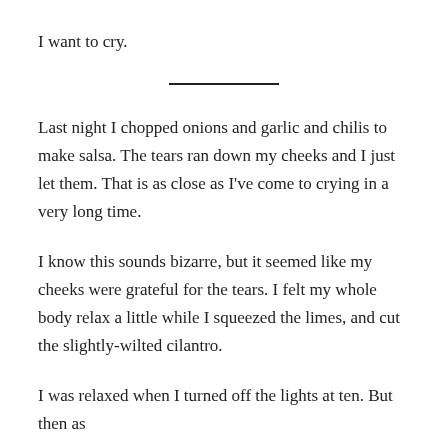I want to cry.
Last night I chopped onions and garlic and chilis to make salsa. The tears ran down my cheeks and I just let them. That is as close as I've come to crying in a very long time.
I know this sounds bizarre, but it seemed like my cheeks were grateful for the tears. I felt my whole body relax a little while I squeezed the limes, and cut the slightly-wilted cilantro.
I was relaxed when I turned off the lights at ten. But then as